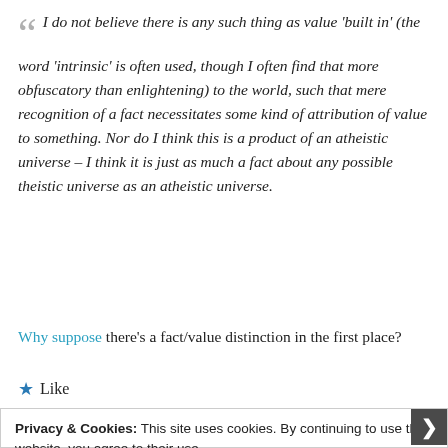I do not believe there is any such thing as value 'built in' (the word 'intrinsic' is often used, though I often find that more obfuscatory than enlightening) to the world, such that mere recognition of a fact necessitates some kind of attribution of value to something. Nor do I think this is a product of an atheistic universe – I think it is just as much a fact about any possible theistic universe as an atheistic universe.
Why suppose there's a fact/value distinction in the first place?
Like
Privacy & Cookies: This site uses cookies. By continuing to use this website, you agree to their use. To find out more, including how to control cookies, see here: Cookie Policy